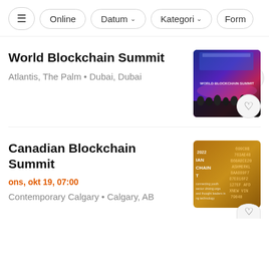Filter bar with: settings icon, Online, Datum ▾, Kategori ▾, Form…
World Blockchain Summit
Atlantis, The Palm • Dubai, Dubai
[Figure (photo): World Blockchain Summit stage photo with blue/purple lighting and audience silhouettes]
Canadian Blockchain Summit
ons, okt 19, 07:00
Contemporary Calgary • Calgary, AB
[Figure (photo): Canadian Blockchain Summit gold/brown poster with hex code text overlay]